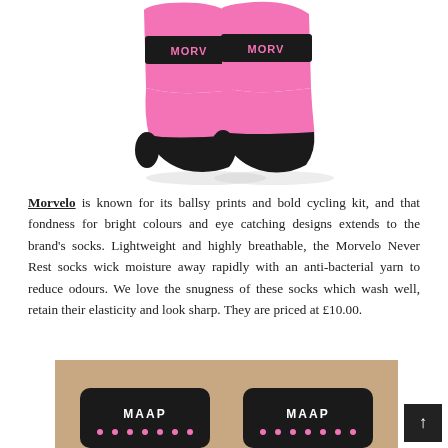[Figure (photo): Two bright pink Morvelo cycling socks with black toe/heel caps and a black band with the Morvelo brand name printed on it, shown from the side against a white background.]
Morvelo is known for its ballsy prints and bold cycling kit, and that fondness for bright colours and eye catching designs extends to the brand's socks. Lightweight and highly breathable, the Morvelo Never Rest socks wick moisture away rapidly with an anti-bacterial yarn to reduce odours. We love the snugness of these socks which wash well, retain their elasticity and look sharp. They are priced at £10.00.
[Figure (photo): Two dark/black cycling socks with MAAP branding and small pink dot pattern, worn on legs, partially visible at the bottom of the page.]